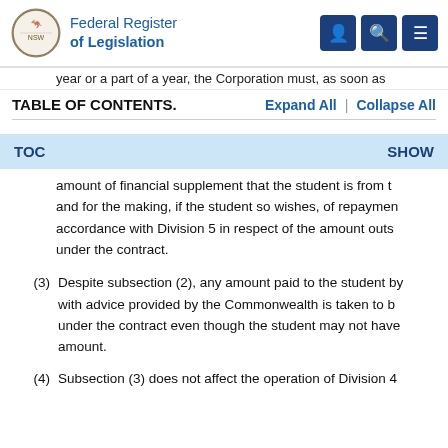Federal Register of Legislation
year or a part of a year, the Corporation must, as soon as
TABLE OF CONTENTS.    Expand All  |  Collapse All
TOC    SHOW
amount of financial supplement that the student is from t and for the making, if the student so wishes, of repayment accordance with Division 5 in respect of the amount outs under the contract.
(3)  Despite subsection (2), any amount paid to the student by with advice provided by the Commonwealth is taken to b under the contract even though the student may not have amount.
(4)  Subsection (3) does not affect the operation of Division 4